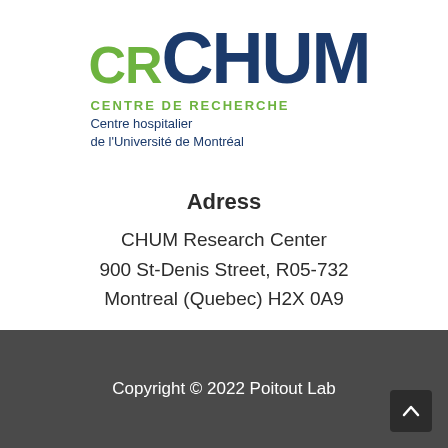[Figure (logo): CR CHUM logo with green 'CR' and dark blue 'CHUM' text, with subtitle 'CENTRE DE RECHERCHE / Centre hospitalier de l'Université de Montréal']
Adress
CHUM Research Center
900 St-Denis Street, R05-732
Montreal (Quebec) H2X 0A9
Copyright © 2022 Poitout Lab